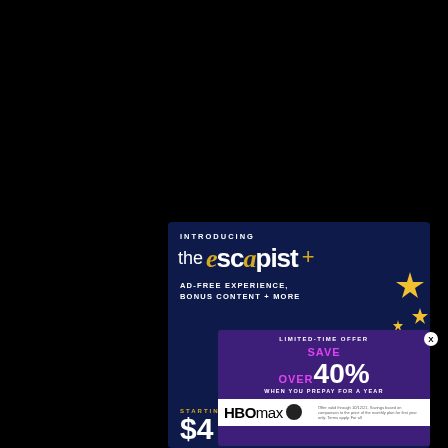[Figure (infographic): The Escapist+ subscription advertisement on dark navy background. Shows 'INTRODUCING the escapist +' branding with gold/white text, 'AD-FREE EXPERIENCE, BONUS CONTENT + MORE' tagline, decorative yellow stars, 'STARTING FROM $4' pricing, and an overlaid HBO Max promotional banner offering 'LIMITED-TIME OFFER SAVE OVER 40% WHEN YOU PREPAY FOR A YEAR' with fine print and HBO Max logo.]